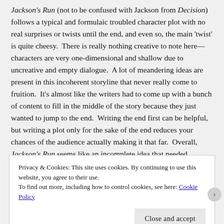Jackson's Run (not to be confused with Jackson from Decision) follows a typical and formulaic troubled character plot with no real surprises or twists until the end, and even so, the main 'twist' is quite cheesy. There is really nothing creative to note here—characters are very one-dimensional and shallow due to uncreative and empty dialogue. A lot of meandering ideas are present in this incoherent storyline that never really come to fruition. It's almost like the writers had to come up with a bunch of content to fill in the middle of the story because they just wanted to jump to the end. Writing the end first can be helpful, but writing a plot only for the sake of the end reduces your chances of the audience actually making it that far. Overall, Jackson's Run seems like an incomplete idea that needed
Privacy & Cookies: This site uses cookies. By continuing to use this website, you agree to their use.
To find out more, including how to control cookies, see here: Cookie Policy